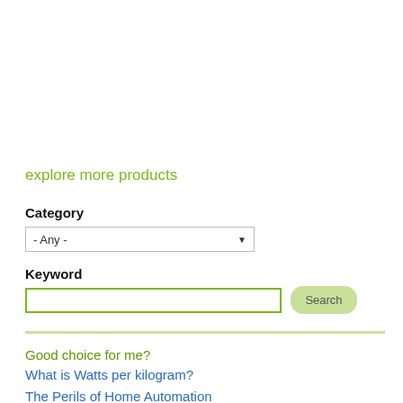explore more products
Category
- Any -
Keyword
Search
Good choice for me?
What is Watts per kilogram?
The Perils of Home Automation